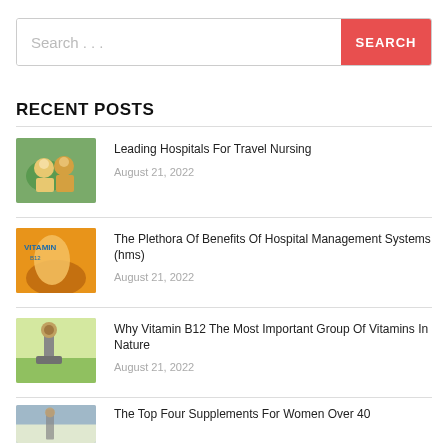[Figure (screenshot): Search bar with placeholder 'Search ...' and a red SEARCH button]
RECENT POSTS
Leading Hospitals For Travel Nursing
August 21, 2022
The Plethora Of Benefits Of Hospital Management Systems (hms)
August 21, 2022
Why Vitamin B12 The Most Important Group Of Vitamins In Nature
August 21, 2022
The Top Four Supplements For Women Over 40